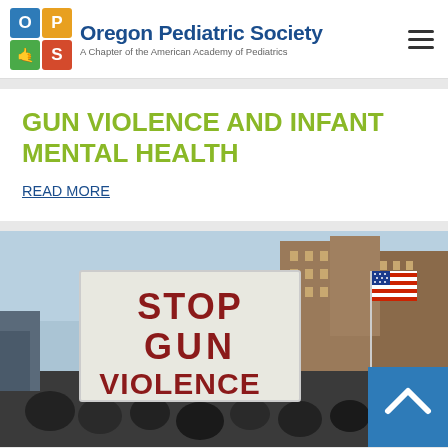Oregon Pediatric Society — A Chapter of the American Academy of Pediatrics
GUN VIOLENCE AND INFANT MENTAL HEALTH
READ MORE
[Figure (photo): Protest crowd holding a large white sign reading 'STOP GUN VIOLENCE' in red block letters. An American flag is visible in the background along with urban buildings and a crowd of demonstrators on a city street.]